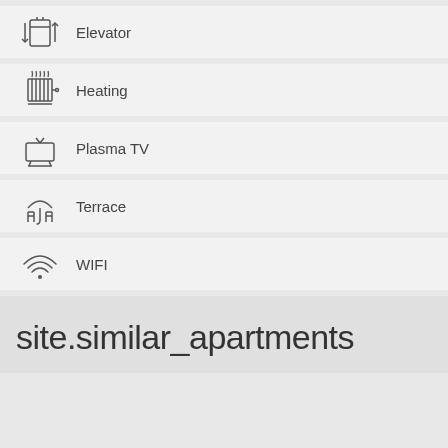Elevator
Heating
Plasma TV
Terrace
WIFI
site.similar_apartments